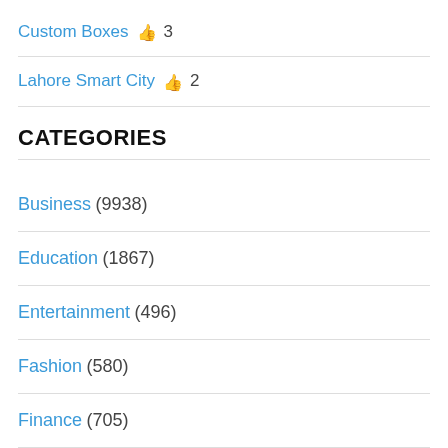Custom Boxes 👍 3
Lahore Smart City 👍 2
CATEGORIES
Business (9938)
Education (1867)
Entertainment (496)
Fashion (580)
Finance (705)
Health (3283)
Internet Business (454)